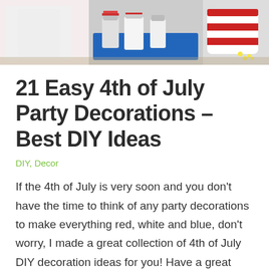[Figure (photo): Hero image showing 4th of July party decorations with red, white and blue items including striped containers and decorative jars on a tray]
21 Easy 4th of July Party Decorations – Best DIY Ideas
DIY, Decor
If the 4th of July is very soon and you don't have the time to think of any party decorations  to make everything red, white and blue, don't worry, I made a great collection of 4th of July DIY decoration ideas for you! Have a great Independence Day in style with these quick DIY projects. See also Summer …